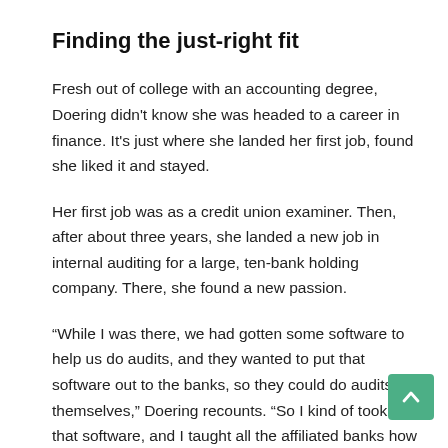Finding the just-right fit
Fresh out of college with an accounting degree, Doering didn't know she was headed to a career in finance. It's just where she landed her first job, found she liked it and stayed.
Her first job was as a credit union examiner. Then, after about three years, she landed a new job in internal auditing for a large, ten-bank holding company. There, she found a new passion.
“While I was there, we had gotten some software to help us do audits, and they wanted to put that software out to the banks, so they could do audits themselves,” Doering recounts. “So I kind of took to that software, and I taught all the affiliated banks how to use it. And I